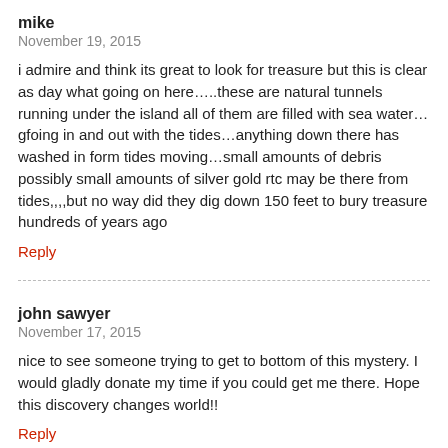mike
November 19, 2015
i admire and think its great to look for treasure but this is clear as day what going on here…..these are natural tunnels running under the island all of them are filled with sea water…gfoing in and out with the tides…anything down there has washed in form tides moving…small amounts of debris possibly small amounts of silver gold rtc may be there from tides,,,,but no way did they dig down 150 feet to bury treasure hundreds of years ago
Reply
john sawyer
November 17, 2015
nice to see someone trying to get to bottom of this mystery. I would gladly donate my time if you could get me there. Hope this discovery changes world!!
Reply
Bill